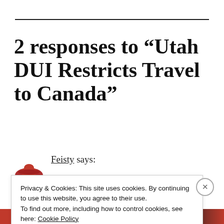2 responses to “Utah DUI Restricts Travel to Canada”
Feisty says:
Privacy & Cookies: This site uses cookies. By continuing to use this website, you agree to their use.
To find out more, including how to control cookies, see here: Cookie Policy
Close and accept